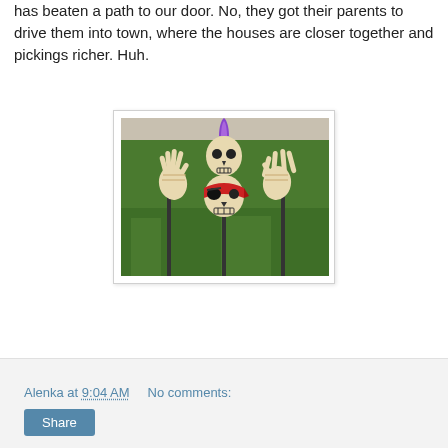has beaten a path to our door. No, they got their parents to drive them into town, where the houses are closer together and pickings richer. Huh.
[Figure (photo): Photo of Halloween skeleton yard decorations: two skeleton hands and two skull heads (one with a mohawk and one wearing a red bandana) sticking up from green grass.]
Alenka at 9:04 AM    No comments:
Share